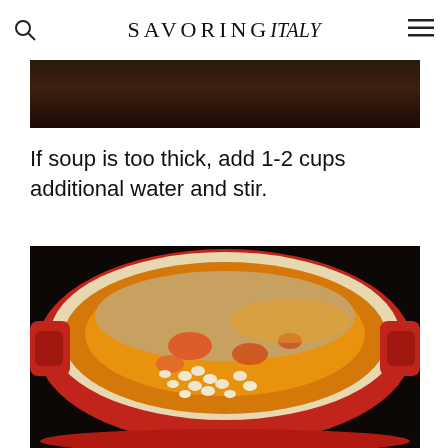SAVORING italy
[Figure (photo): Top portion of a dark cooking scene, partially visible at the top of the page]
If soup is too thick, add 1-2 cups additional water and stir.
[Figure (photo): A red Dutch oven / cast iron pot filled with bean and tomato soup, seen from above, with white beans and orange tomato pieces visible in a golden-orange broth]